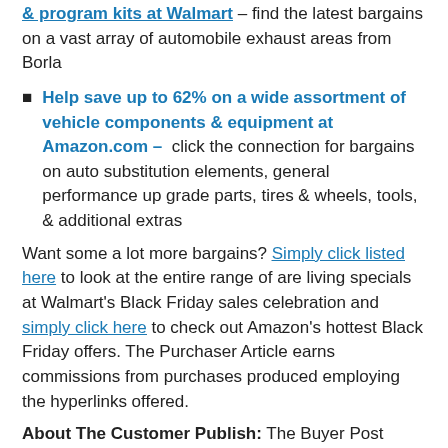& program kits at Walmart – find the latest bargains on a vast array of automobile exhaust areas from Borla
Help save up to 62% on a wide assortment of vehicle components & equipment at Amazon.com – click the connection for bargains on auto substitution elements, general performance up grade parts, tires & wheels, tools, & additional extras
Want some a lot more bargains? Simply click listed here to look at the entire range of are living specials at Walmart's Black Friday sales celebration and simply click here to check out Amazon's hottest Black Friday offers. The Purchaser Article earns commissions from purchases produced employing the hyperlinks offered.
About The Customer Publish: The Buyer Post shares information for on line shoppers. As an Amazon Affiliate and affiliate, The Shopper Submit earns from qualifying purchases.
[Figure (other): Two green READ MORE buttons]